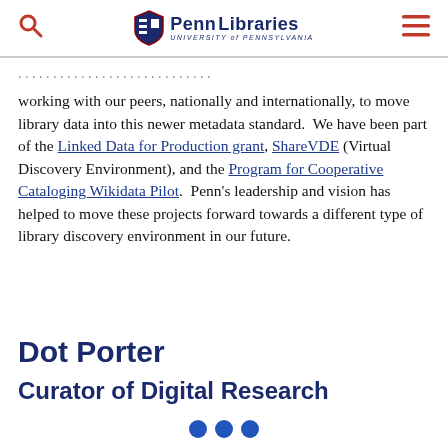Penn Libraries — University of Pennsylvania
working with our peers, nationally and internationally, to move library data into this newer metadata standard. We have been part of the Linked Data for Production grant, ShareVDE (Virtual Discovery Environment), and the Program for Cooperative Cataloging Wikidata Pilot. Penn's leadership and vision has helped to move these projects forward towards a different type of library discovery environment in our future.
Dot Porter
Curator of Digital Research